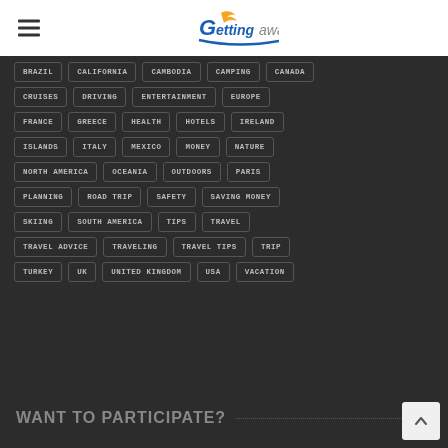GettingAway logo with hamburger menu
BRAZIL
CALIFORNIA
CAMBODIA
CAMPING
CANADA
CRUISES
DRIVING
ENTERTAINMENT
EUROPE
FRANCE
GREECE
HEALTH
HOTELS
IRELAND
ISLANDS
ITALY
MEXICO
MONEY
NATURE
NORTH AMERICA
OCEANIA
OUTDOORS
PARIS
PLANNING
ROAD TRIP
SAFETY
SAVING MONEY
SKIING
SOUTH AMERICA
TIPS
TRAVEL
TRAVEL ADVICE
TRAVELING
TRAVEL TIPS
TRIP
TURKEY
UK
UNITED KINGDOM
USA
VACATION
WANT TO PARTICIPATE?